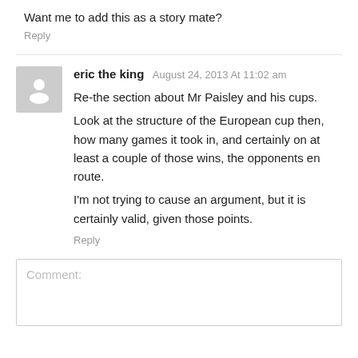Want me to add this as a story mate?
Reply
eric the king August 24, 2013 At 11:02 am
Re-the section about Mr Paisley and his cups.
Look at the structure of the European cup then, how many games it took in, and certainly on at least a couple of those wins, the opponents en route.
I'm not trying to cause an argument, but it is certainly valid, given those points.
Reply
Comment: